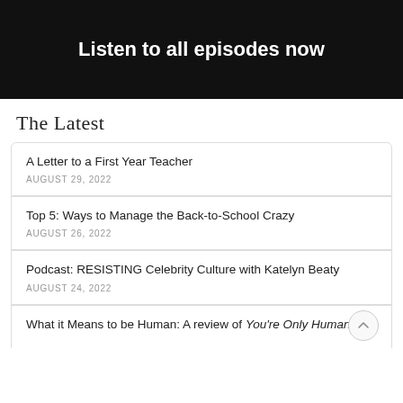[Figure (photo): Dark banner image with text 'Listen to all episodes now' in bold white]
The Latest
A Letter to a First Year Teacher
AUGUST 29, 2022
Top 5: Ways to Manage the Back-to-School Crazy
AUGUST 26, 2022
Podcast: RESISTING Celebrity Culture with Katelyn Beaty
AUGUST 24, 2022
What it Means to be Human: A review of You're Only Human